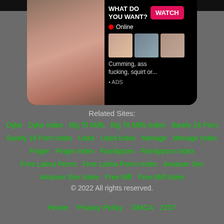[Figure (screenshot): Adult advertisement banner with image and call-to-action 'WHAT DO YOU WANT? WATCH', Online indicator, thumbnail images, text 'Cumming, ass fucking, squirt or... ADS']
anal, ... c...
Related Sites:
Dyke   Dyke Index   Big Tit Milfs   Big Tit Milfs Index   Barely 18 Porn
Barely 18 Porn Index   Used   Used Index   Menage   Menage Index
Finger   Finger Index   Familyporn   Familyporn Index
Free Latina Porno   Free Latina Porno Index   Amatuer Sex
Amatuer Sex Index   Free Milf   Free Milf Index
© 2022 All rights reserved.
Home   Privacy Policy   DMCA   2257